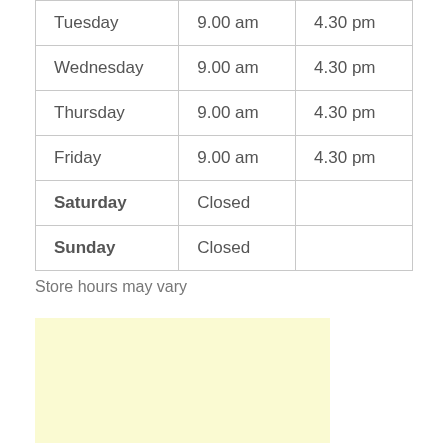| Day | Open | Close |
| --- | --- | --- |
| Tuesday | 9.00 am | 4.30 pm |
| Wednesday | 9.00 am | 4.30 pm |
| Thursday | 9.00 am | 4.30 pm |
| Friday | 9.00 am | 4.30 pm |
| Saturday | Closed |  |
| Sunday | Closed |  |
Store hours may vary
[Figure (other): Light yellow advertisement box placeholder]